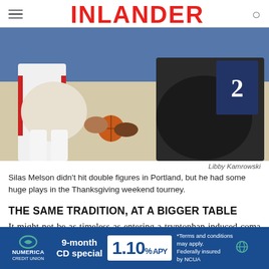INLANDER
[Figure (photo): Basketball players competing for the ball during a game, one player in white and red uniform, another in black uniform]
Libby Kamrowski
Silas Melson didn't hit double figures in Portland, but he had some huge plays in the Thanksgiving weekend tourney.
THE SAME TRADITION, AT A BIGGER TABLE
It might not be as timeless as entering a tryptophan-induced coma or trying to avoid political conversations with your
[Figure (infographic): Numerica Credit Union advertisement: 9-month CD special 1.10% APY. Terms and conditions may apply. Federally insured by NCUA.]